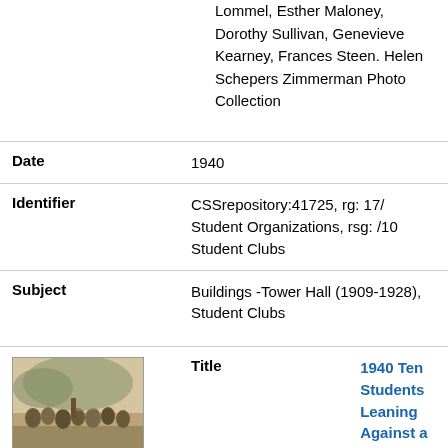Lommel, Esther Maloney, Dorothy Sullivan, Genevieve Kearney, Frances Steen. Helen Schepers Zimmerman Photo Collection
| Field | Value |
| --- | --- |
| Date | 1940 |
| Identifier | CSSrepository:41725, rg: 17/ Student Organizations, rsg: /10 Student Clubs |
| Subject | Buildings -Tower Hall (1909-1928), Student Clubs |
[Figure (photo): Small thumbnail photo of students leaning against a wall outside Tower Hall, 1940, sepia-toned group photograph]
| Field | Value |
| --- | --- |
| Title | 1940 Ten Students Leaning Against a Wall Outside of Tower Hall |
| Description | From page 66 of the 1940 Towers Yearbook, "On the sunnyside of the wall watching the golf tournament are Alice Mather, Dolores Belland, |